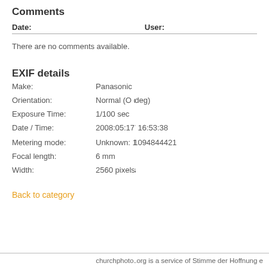Comments
| Date: | User: |
| --- | --- |
There are no comments available.
EXIF details
| Make: | Panasonic |
| Orientation: | Normal (O deg) |
| Exposure Time: | 1/100 sec |
| Date / Time: | 2008:05:17 16:53:38 |
| Metering mode: | Unknown: 1094844421 |
| Focal length: | 6 mm |
| Width: | 2560 pixels |
Back to category
churchphoto.org is a service of Stimme der Hoffnung e